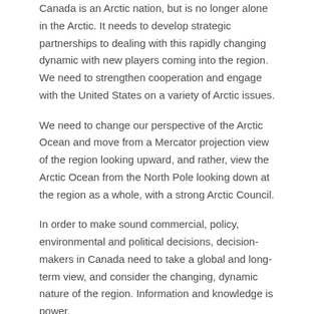Canada is an Arctic nation, but is no longer alone in the Arctic. It needs to develop strategic partnerships to dealing with this rapidly changing dynamic with new players coming into the region. We need to strengthen cooperation and engage with the United States on a variety of Arctic issues.
We need to change our perspective of the Arctic Ocean and move from a Mercator projection view of the region looking upward, and rather, view the Arctic Ocean from the North Pole looking down at the region as a whole, with a strong Arctic Council.
In order to make sound commercial, policy, environmental and political decisions, decision-makers in Canada need to take a global and long-term view, and consider the changing, dynamic nature of the region. Information and knowledge is power.
This article provides a starting point for Canadian